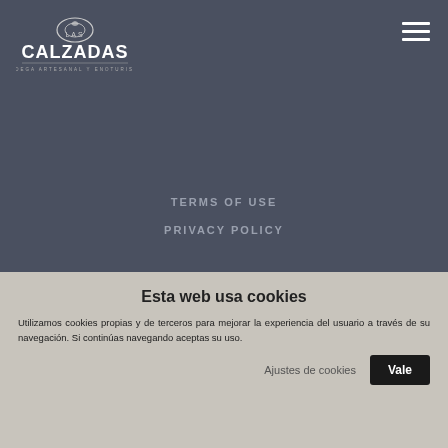[Figure (logo): Las Calzadas – Bodega Artesanal y Enoturismo logo in white on dark background]
TERMS OF USE
PRIVACY POLICY
Esta web usa cookies
Utilizamos cookies propias y de terceros para mejorar la experiencia del usuario a través de su navegación. Si continúas navegando aceptas su uso.
Ajustes de cookies
Vale